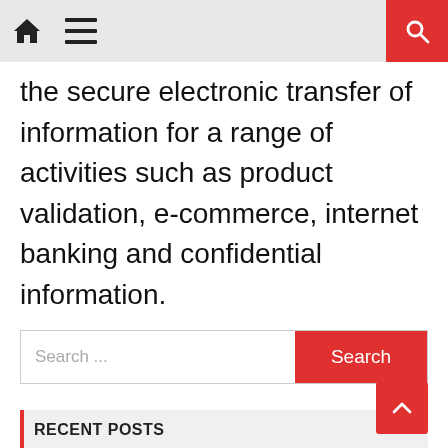[Navigation bar with home, menu, and search icons]
the secure electronic transfer of information for a range of activities such as product validation, e-commerce, internet banking and confidential information.
Search ...
RECENT POSTS
City Safe – Safe service
Icynote for financial institutions
SMD Protects against Counterfeiting